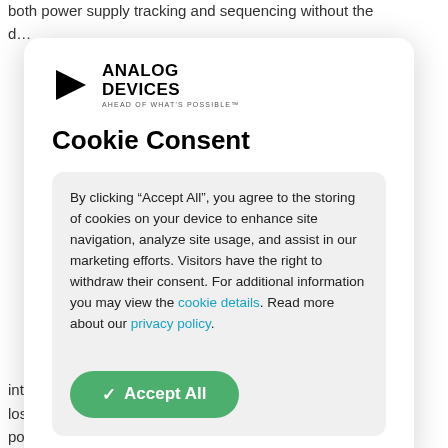both power supply tracking and sequencing without the d…
[Figure (logo): Analog Devices logo with triangle icon and text 'ANALOG DEVICES AHEAD OF WHAT'S POSSIBLE']
Cookie Consent
By clicking “Accept All”, you agree to the storing of cookies on your device to enhance site navigation, analyze site usage, and assist in our marketing efforts. Visitors have the right to withdraw their consent. For additional information you may view the cookie details. Read more about our privacy policy.
Accept All
into their feedback nodes and thus avoids the pas… ent losses inherent in series MOSFET solutions. Furthermore, power supply stability and transient response remain